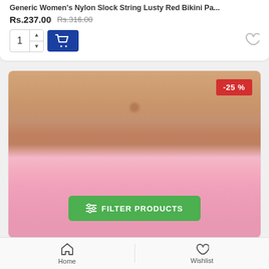Generic Women's Nylon Slock String Lusty Red Bikini Pa...
Rs.237.00  Rs.316.00
[Figure (screenshot): E-commerce product page showing a pink bikini bottom on a model, with a -25% discount badge, a green FILTER PRODUCTS button overlay, quantity selector, add-to-cart button, and wishlist heart icon.]
-25 %
≡  FILTER PRODUCTS
Home    Wishlist